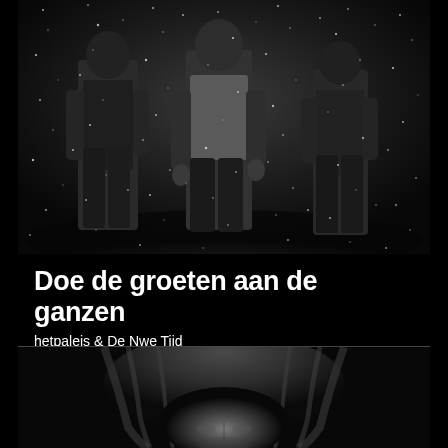[Figure (photo): Black and white photo of performers standing in falling particles/rain on stage, dark dramatic atmosphere]
Doe de groeten aan de ganzen
hetpaleis & De Nwe Tijd
ZA 28/01/23 - 19:30
BESTEL TICKETS!
[Figure (photo): Black and white close-up portrait of a woman with long hair against dark background]